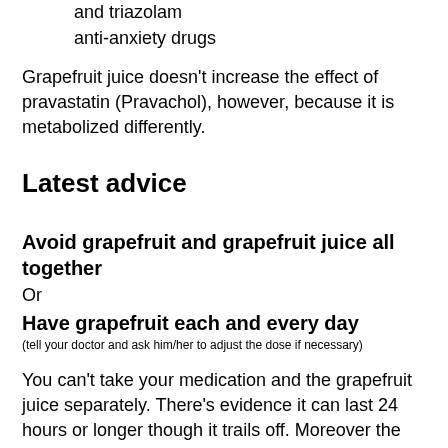and triazolam
anti-anxiety drugs
Grapefruit juice doesn't increase the effect of pravastatin (Pravachol), however, because it is metabolized differently.
Latest advice
Avoid grapefruit and grapefruit juice all together
Or
Have grapefruit each and every day
(tell your doctor and ask him/her to adjust the dose if necessary)
You can't take your medication and the grapefruit juice separately. There's evidence it can last 24 hours or longer though it trails off. Moreover the effect can vary from person to person and even from grapefruit to grapefruit.
I love grapefruit and am always amazed at how it can interfere